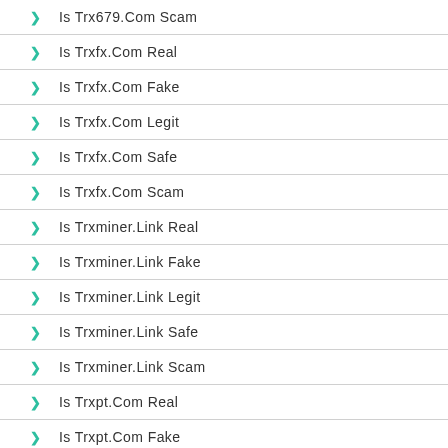Is Trx679.Com Scam
Is Trxfx.Com Real
Is Trxfx.Com Fake
Is Trxfx.Com Legit
Is Trxfx.Com Safe
Is Trxfx.Com Scam
Is Trxminer.Link Real
Is Trxminer.Link Fake
Is Trxminer.Link Legit
Is Trxminer.Link Safe
Is Trxminer.Link Scam
Is Trxpt.Com Real
Is Trxpt.Com Fake